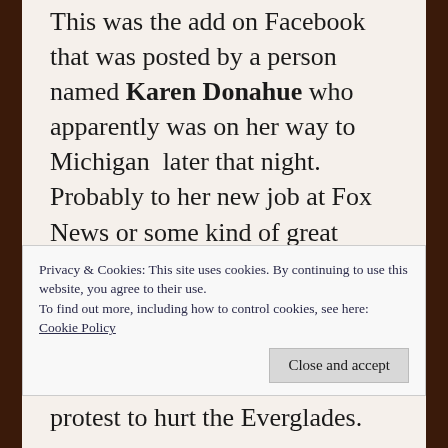This was the add on Facebook that was posted by a person named Karen Donahue who apparently was on her way to Michigan  later that night. Probably to her new job at Fox News or some kind of great payola for selling her friends down the filthy, dirty, polluted river last week at South Florida Water Management.  When I checked her out on Facebook we had 50 or so of the same friends. Since we have many mutual friends in the film
Privacy & Cookies: This site uses cookies. By continuing to use this website, you agree to their use.
To find out more, including how to control cookies, see here: Cookie Policy
Close and accept
protest to hurt the Everglades.